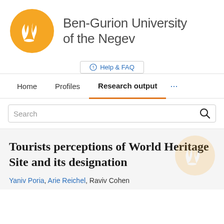[Figure (logo): Ben-Gurion University of the Negev logo: orange circle with white flame/figure icon, and university name text to the right]
Help & FAQ
Home   Profiles   Research output   ...
Search
Tourists perceptions of World Heritage Site and its designation
Yaniv Poria, Arie Reichel, Raviv Cohen